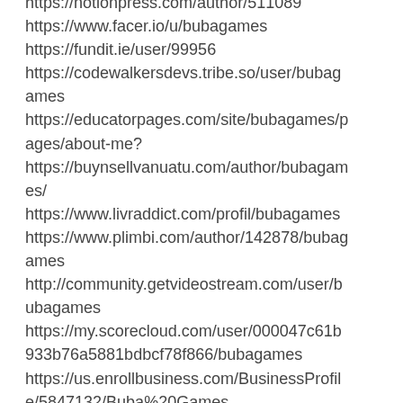https://notionpress.com/author/511089
https://www.facer.io/u/bubagames
https://fundit.ie/user/99956
https://codewalkersdevs.tribe.so/user/bubagames
https://educatorpages.com/site/bubagames/pages/about-me?
https://buynsellvanuatu.com/author/bubagames/
https://www.livraddict.com/profil/bubagames
https://www.plimbi.com/author/142878/bubagames
http://community.getvideostream.com/user/bubagames
https://my.scorecloud.com/user/000047c61b933b76a5881bdbcf78f866/bubagames
https://us.enrollbusiness.com/BusinessProfile/5847132/Buba%20Games
http://wiznotes.com/UserProfile/tabid/84/userId/1576976/Default.aspx
https://www.checkli.com/bubagames